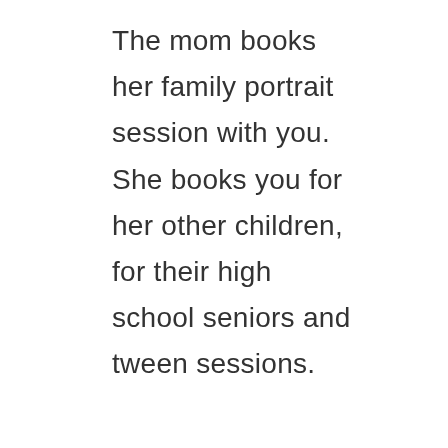The mom books her family portrait session with you. She books you for her other children, for their high school seniors and tween sessions.

What this means, is that one tween